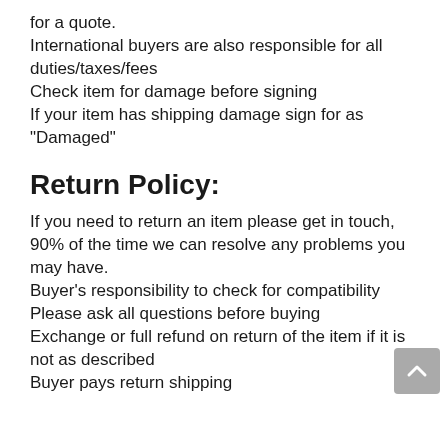for a quote.
International buyers are also responsible for all duties/taxes/fees
Check item for damage before signing
If your item has shipping damage sign for as "Damaged"
Return Policy:
If you need to return an item please get in touch, 90% of the time we can resolve any problems you may have.
Buyer's responsibility to check for compatibility
Please ask all questions before buying
Exchange or full refund on return of the item if it is not as described
Buyer pays return shipping
[Figure (other): Scroll-to-top button, grey rounded rectangle with upward chevron arrow]